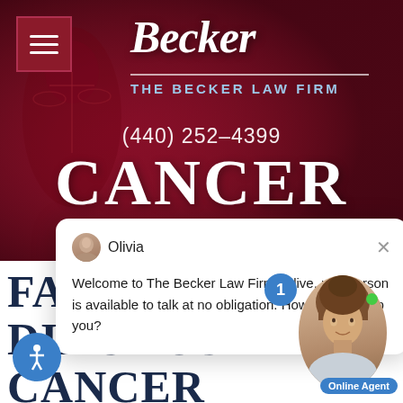[Figure (screenshot): The Becker Law Firm website header with dark crimson background, logo in script font, phone number (440) 252-4399 and CANCER text]
THE BECKER LAW FIRM
(440) 252–4399
CANCER
[Figure (screenshot): Chat widget popup with avatar of Olivia and message: Welcome to The Becker Law Firm! A live, real person is available to talk at no obligation. How can we help you?]
Olivia
Welcome to The Becker Law Firm! A live, real person is available to talk at no obligation. How can we help you?
FAILURE TO DIAGNOSE CANCER LAWYER IN